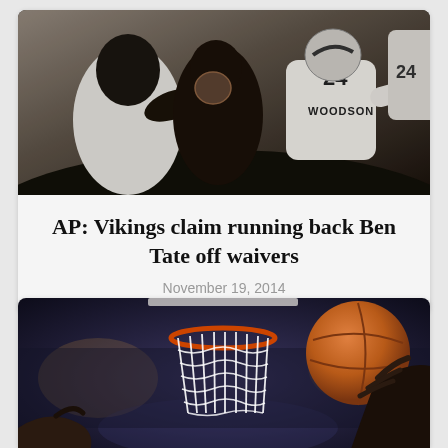[Figure (photo): Football players in action, one wearing jersey number 24 with name WOODSON on back, players in white uniforms fighting for the ball]
AP: Vikings claim running back Ben Tate off waivers
November 19, 2014
[Figure (photo): Basketball net with a basketball being dunked through it, player's hand visible from the right side, arena crowd in background]